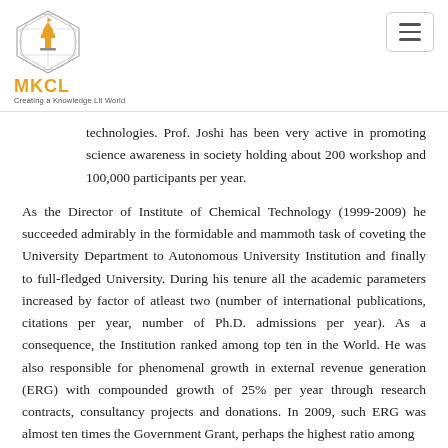[Figure (logo): MKCL logo with geometric diamond-shaped globe icon, orange text 'MKCL', tagline 'Creating a Knowledge Lit World']
technologies. Prof. Joshi has been very active in promoting science awareness in society holding about 200 workshop and 100,000 participants per year.
As the Director of Institute of Chemical Technology (1999-2009) he succeeded admirably in the formidable and mammoth task of coveting the University Department to Autonomous University Institution and finally to full-fledged University. During his tenure all the academic parameters increased by factor of atleast two (number of international publications, citations per year, number of Ph.D. admissions per year). As a consequence, the Institution ranked among top ten in the World. He was also responsible for phenomenal growth in external revenue generation (ERG) with compounded growth of 25% per year through research contracts, consultancy projects and donations. In 2009, such ERG was almost ten times the Government Grant, perhaps the highest ratio among